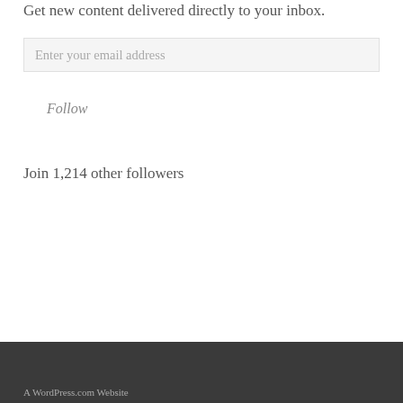Get new content delivered directly to your inbox.
Enter your email address
Follow
Join 1,214 other followers
A WordPress.com Website